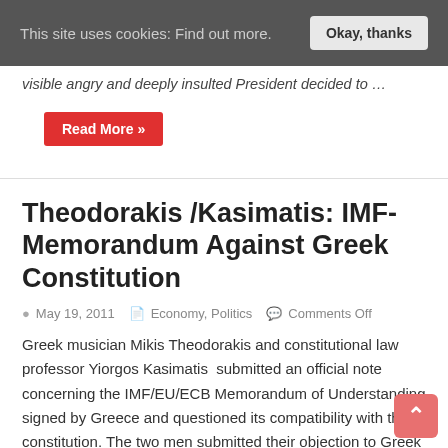This site uses cookies: Find out more.  Okay, thanks
visible angry and deeply insulted President decided to …
Read More »
Theodorakis /Kasimatis: IMF-Memorandum Against Greek Constitution
May 19, 2011   Economy, Politics   Comments Off
Greek musician Mikis Theodorakis and constitutional law professor Yiorgos Kasimatis  submitted an official note concerning the IMF/EU/ECB Memorandum of Understanding signed by Greece and questioned its compatibility with the constitution. The two men submitted their objection to Greek President Karolos Papoulias during a visit to presidential manor.   Theodorakis stressed …
Read More »